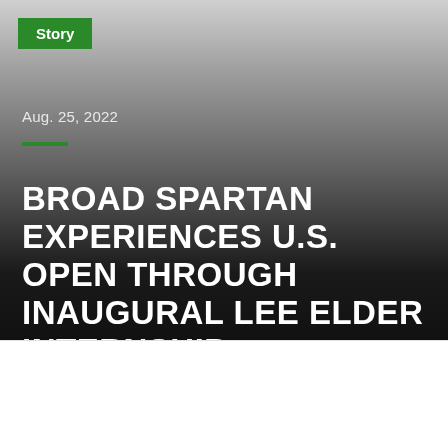Story
Aug. 25, 2022
BROAD SPARTAN EXPERIENCES U.S. OPEN THROUGH INAUGURAL LEE ELDER INTERNSHIP
Stay connected